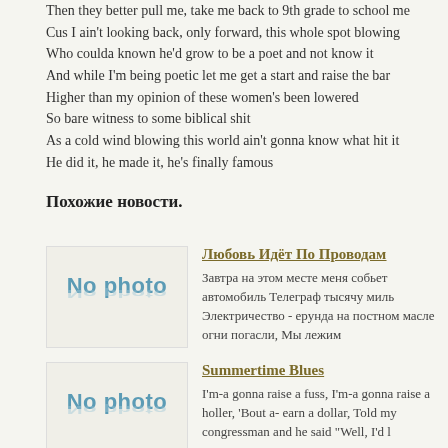Then they better pull me, take me back to 9th grade to school me
Cus I ain't looking back, only forward, this whole spot blowing
Who coulda known he'd grow to be a poet and not know it
And while I'm being poetic let me get a start and raise the bar
Higher than my opinion of these women's been lowered
So bare witness to some biblical shit
As a cold wind blowing this world ain't gonna know what hit it
He did it, he made it, he's finally famous
Похожие новости.
[Figure (photo): No photo placeholder image with blue-grey text]
Любовь Идёт По Проводам
Завтра на этом месте меня собьет автомобиль Телеграф тысячу миль Электричество - ерунда на постном масле огни погасли, Мы лежим
[Figure (photo): No photo placeholder image with blue-grey text]
Summertime Blues
I'm-a gonna raise a fuss, I'm-a gonna raise a holler, 'Bout a- earn a dollar, Told my congressman and he said "Well, I'd l